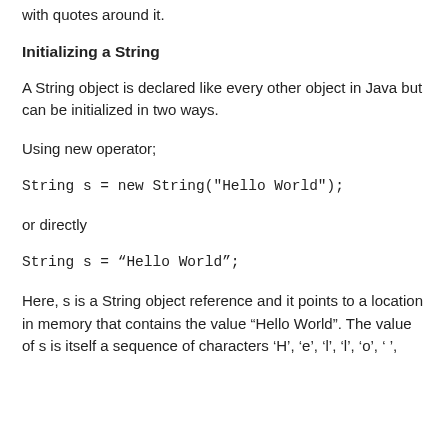with quotes around it.
Initializing a String
A String object is declared like every other object in Java but can be initialized in two ways.
Using new operator;
String s = new String("Hello World");
or directly
String s = “Hello World”;
Here, s is a String object reference and it points to a location in memory that contains the value “Hello World”. The value of s is itself a sequence of characters ‘H’, ‘e’, ‘l’, ‘l’, ‘o’, ‘ ’,